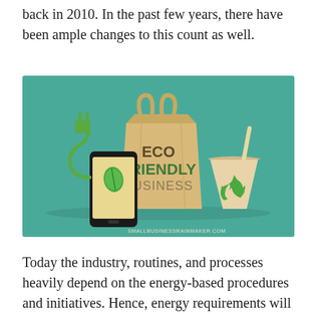back in 2010. In the past few years, there have been ample changes to this count as well.
[Figure (illustration): Eco Friendly Business illustration on teal background featuring a kraft paper shopping bag labeled 'ECO FRIENDLY BUSINESS', a smartphone with a green leaf, an electric plug, and a cup with a recycling symbol. Watermark: SmallBusinessRainmaker.com]
Today the industry, routines, and processes heavily depend on the energy-based procedures and initiatives. Hence, energy requirements will continue to increase. The industry will come up with severe after-effects of the